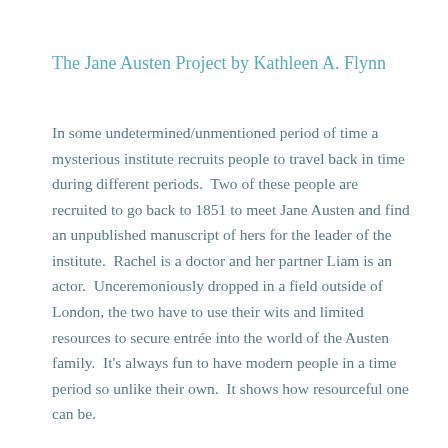The Jane Austen Project by Kathleen A. Flynn
In some undetermined/unmentioned period of time a mysterious institute recruits people to travel back in time during different periods.  Two of these people are recruited to go back to 1851 to meet Jane Austen and find an unpublished manuscript of hers for the leader of the institute.  Rachel is a doctor and her partner Liam is an actor.  Unceremoniously dropped in a field outside of London, the two have to use their wits and limited resources to secure entrée into the world of the Austen family.  It's always fun to have modern people in a time period so unlike their own.  It shows how resourceful one can be.